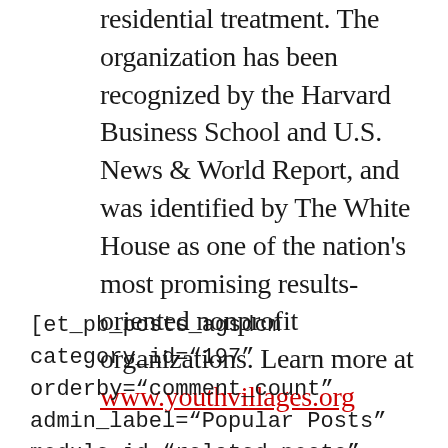residential treatment. The organization has been recognized by the Harvard Business School and U.S. News & World Report, and was identified by The White House as one of the nation's most promising results-oriented nonprofit organizations. Learn more at www.youthvillages.org
[et_pb_posts_agsdcm category_id="197" orderby="comment_count" admin_label="Popular Posts" module_id="related-posts"